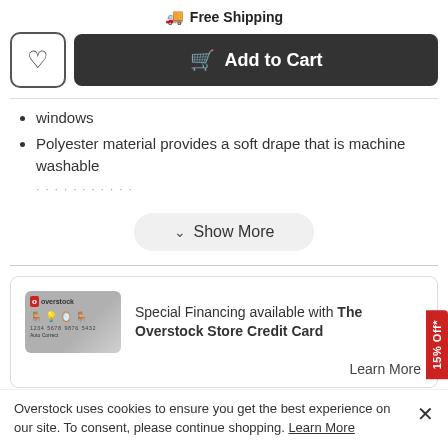Free Shipping
Add to Cart
windows
Polyester material provides a soft drape that is machine washable
Show More
Special Financing available with The Overstock Store Credit Card
Learn More
15% Off*
Overstock uses cookies to ensure you get the best experience on our site. To consent, please continue shopping. Learn More